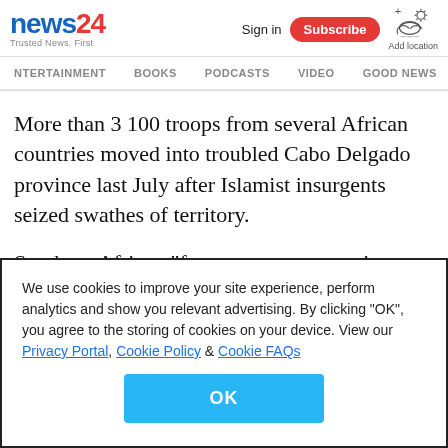news24 | Trusted News. First | Sign in | Subscribe | Add location
NTERTAINMENT  BOOKS  PODCASTS  VIDEO  GOOD NEWS
More than 3 100 troops from several African countries moved into troubled Cabo Delgado province last July after Islamist insurgents seized swathes of territory.
Southern African "forces met strong resistance from the terrorists but were able to inflict fatal casualties and disrupt activities," General Rudzani Maphwanya told media in
We use cookies to improve your site experience, perform analytics and show you relevant advertising. By clicking "OK", you agree to the storing of cookies on your device. View our Privacy Portal, Cookie Policy & Cookie FAQs
OK